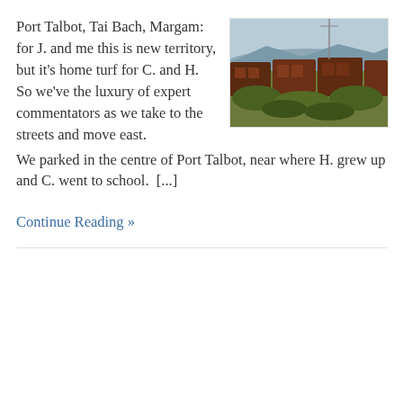Port Talbot, Tai Bach, Margam: for J. and me this is new territory, but it's home turf for C. and H.  So we've the luxury of expert commentators as we take to the streets and move east. We parked in the centre of Port Talbot, near where H. grew up and C. went to school.  [...]
[Figure (photo): Photograph of old rusty freight/cargo train cars parked on a track, with overgrown vegetation and hills in the background under a hazy sky.]
Continue Reading »